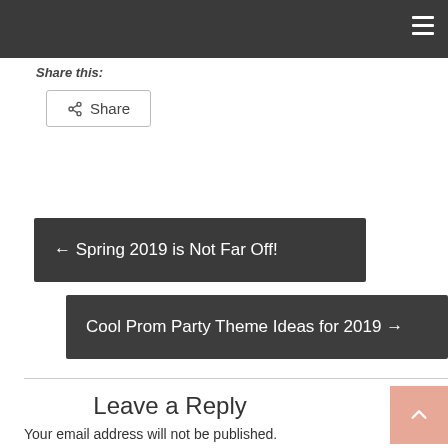Share this:
[Figure (other): Share button with share icon]
← Spring 2019 is Not Far Off!
Cool Prom Party Theme Ideas for 2019 →
Leave a Reply
Your email address will not be published.